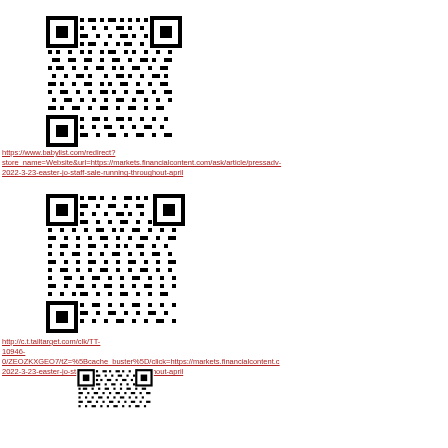[Figure (other): QR code 1 linking to babylist.com redirect URL for markets.financialcontent.com article]
https://www.babylist.com/redirect?store_name=Website&url=https://markets.financialcontent.com/ask/article/pressadv-2022-3-23-easter-jo-staff-sale-running-throughout-april
[Figure (other): QR code 2 linking to tailtarget.com click URL for markets.financialcontent.com article]
http://c.t.tailtarget.com/clk/TT-10946-0/ZEOZKXGEO7/tZ=%5Bcache_buster%5D/click=https://markets.financialcontent.com/ask/article/pressadv-2022-3-23-easter-jo-staff-sale-running-throughout-april
[Figure (other): QR code 3 (partial, bottom of page)]